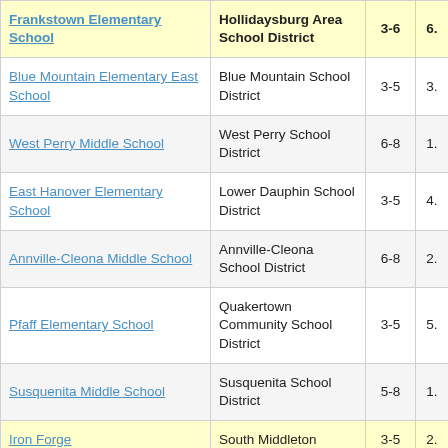| School Name | District | Grades | Value |
| --- | --- | --- | --- |
| Frankstown Elementary School | Hollidaysburg Area School District | 3-6 | 6. |
| Blue Mountain Elementary East School | Blue Mountain School District | 3-5 | 3. |
| West Perry Middle School | West Perry School District | 6-8 | 1. |
| East Hanover Elementary School | Lower Dauphin School District | 3-5 | 4. |
| Annville-Cleona Middle School | Annville-Cleona School District | 6-8 | 2. |
| Pfaff Elementary School | Quakertown Community School District | 3-5 | 5. |
| Susquenita Middle School | Susquenita School District | 5-8 | 1. |
| Iron Forge | South Middleton School District | 3-5 | 2. |